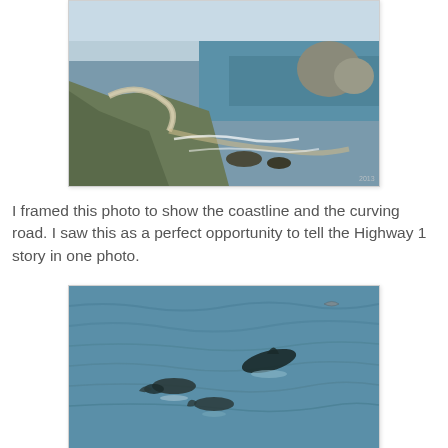[Figure (photo): Aerial/elevated view of a winding coastal road along a cliff with the Pacific Ocean visible, rocky outcroppings in the background, and waves breaking on the shore below. Highway 1 coastline scene.]
I framed this photo to show the coastline and the curving road. I saw this as a perfect opportunity to tell the Highway 1 story in one photo.
[Figure (photo): Ocean surface with several dolphins or seals visible, some leaping or surfacing, with blue-gray choppy water and a seabird visible in the upper right.]